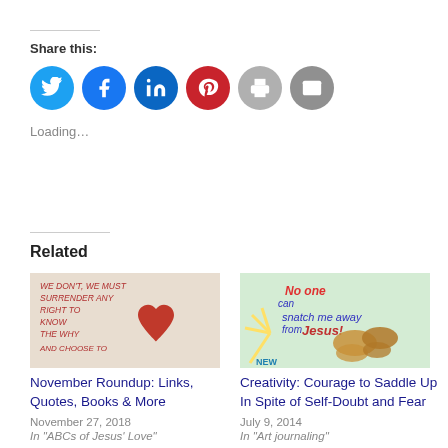Share this:
[Figure (infographic): Row of six circular social share buttons: Twitter (light blue), Facebook (blue), LinkedIn (dark blue), Pinterest (red), Print (gray), Email (gray)]
Loading...
Related
[Figure (photo): Image with text 'WE DON'T, WE MUST SURRENDER ANY RIGHT TO KNOW THE WHY AND CHOOSE TO' and a red heart on a light background]
November Roundup: Links, Quotes, Books & More
November 27, 2018
In "ABCs of Jesus' Love"
[Figure (photo): Colorful illustration with text 'No one can snatch me away from Jesus!' with a butterfly and bright colors]
Creativity: Courage to Saddle Up In Spite of Self-Doubt and Fear
July 9, 2014
In "Art journaling"